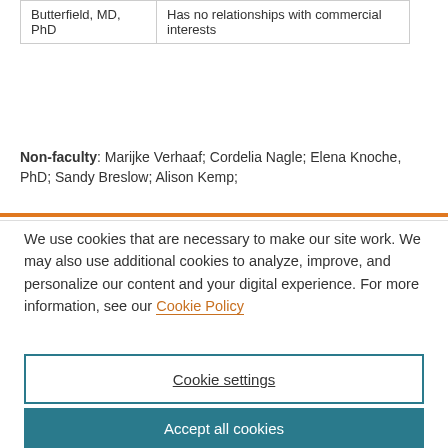| Name | Disclosure |
| --- | --- |
| Butterfield, MD, PhD | Has no relationships with commercial interests |
Non-faculty: Marijke Verhaaf; Cordelia Nagle; Elena Knoche, PhD; Sandy Breslow; Alison Kemp;
We use cookies that are necessary to make our site work. We may also use additional cookies to analyze, improve, and personalize our content and your digital experience. For more information, see our Cookie Policy